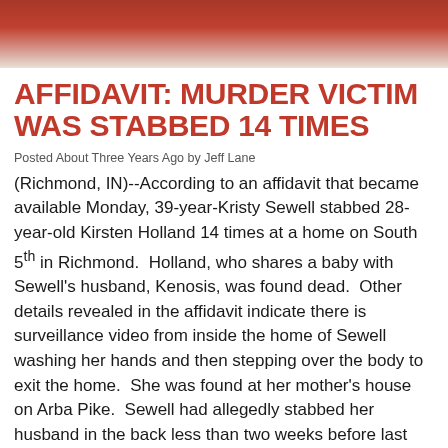[Figure (photo): Partial photo of a person wearing a red/orange top, cropped showing torso/shoulders area]
AFFIDAVIT: MURDER VICTIM WAS STABBED 14 TIMES
Posted About Three Years Ago by Jeff Lane
(Richmond, IN)--According to an affidavit that became available Monday, 39-year-Kristy Sewell stabbed 28-year-old Kirsten Holland 14 times at a home on South 5th in Richmond. Holland, who shares a baby with Sewell's husband, Kenosis, was found dead. Other details revealed in the affidavit indicate there is surveillance video from inside the home of Sewell washing her hands and then stepping over the body to exit the home. She was found at her mother's house on Arba Pike. Sewell had allegedly stabbed her husband in the back less than two weeks before last Friday's fatal stabbing.